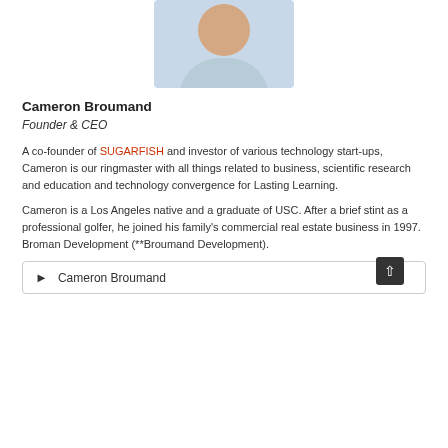[Figure (photo): Headshot photo of Cameron Broumand, a man in a light blue shirt, upper body visible, white background]
Cameron Broumand
Founder & CEO
A co-founder of SUGARFISH and investor of various technology start-ups, Cameron is our ringmaster with all things related to business, scientific research and education and technology convergence for Lasting Learning.
Cameron is a Los Angeles native and a graduate of USC. After a brief stint as a professional golfer, he joined his family's commercial real estate business in 1997. Broman Development (**Broumand Development).
▶  Cameron Broumand